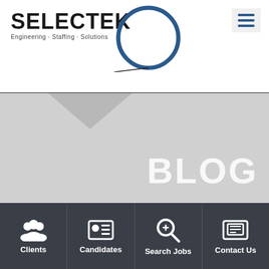[Figure (logo): Selectek Engineering Staffing Solutions logo with circular graphic element]
[Figure (screenshot): Hamburger menu icon (three horizontal lines) on light gray background]
BLOG
[Figure (infographic): Dark navigation bar with four icons: Clients, Candidates, Search Jobs, Contact Us]